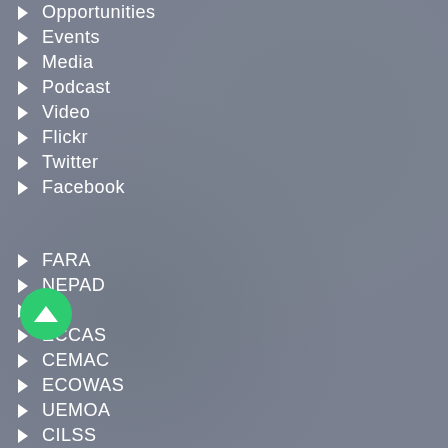Opportunities
Events
Media
Podcast
Video
Flickr
Twitter
Facebook
FARA
NEPAD
AU
ECCAS
CEMAC
ECOWAS
UEMOA
CILSS
PAIRED
WAAPP